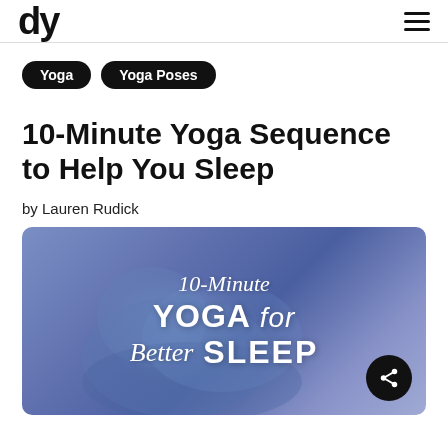dy
Yoga  Yoga Poses
10-Minute Yoga Sequence to Help You Sleep
by Lauren Rudick
[Figure (photo): Promotional image with blue/purple toned background showing a person doing yoga, with white italic and bold text overlay reading: 10-Minute YOGA for Better SLEEP. A black circular share button is in the bottom right corner.]